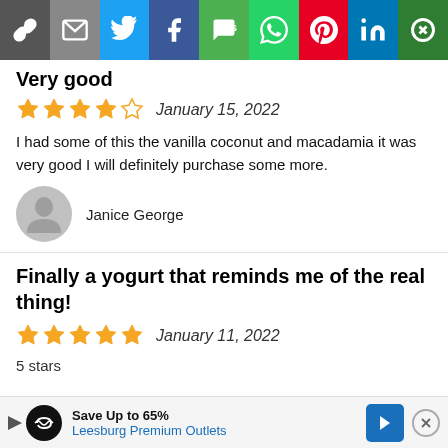[Figure (infographic): Social sharing toolbar with icons: link, email, Twitter, Facebook, SMS, WhatsApp, Pinterest, LinkedIn, and more options]
Very good
[Figure (infographic): 4-star rating (4 filled gold stars, 1 empty star) followed by date January 15, 2022]
I had some of this the vanilla coconut and macadamia it was very good I will definitely purchase some more.
Janice George
Finally a yogurt that reminds me of the real thing!
[Figure (infographic): 5-star rating (5 filled gold stars) followed by date January 11, 2022]
5 stars
[Figure (infographic): Advertisement banner: Save Up to 65% Leesburg Premium Outlets]